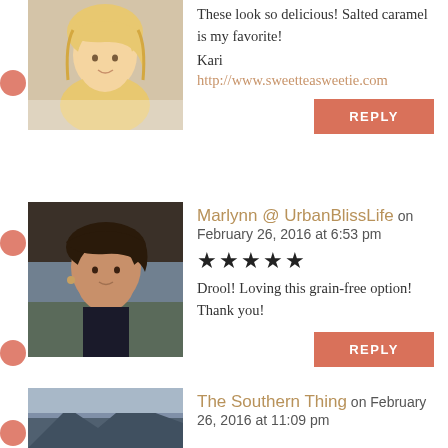These look so delicious! Salted caramel is my favorite!
Kari
http://www.sweetteasweetie.com
REPLY
Marlynn @ UrbanBlissLife on February 26, 2016 at 6:53 pm
★★★★★
Drool! Loving this grain-free option! Thank you!
REPLY
The Southern Thing on February 26, 2016 at 11:09 pm